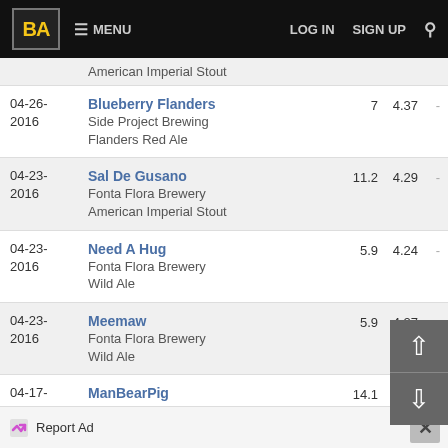BA MENU | LOG IN | SIGN UP
| Date | Beer / Brewery / Style |  | Rating |  |
| --- | --- | --- | --- | --- |
|  | American Imperial Stout |  |  |  |
| 04-26-2016 | Blueberry Flanders | Side Project Brewing | Flanders Red Ale | 7 | 4.37 | - |
| 04-23-2016 | Sal De Gusano | Fonta Flora Brewery | American Imperial Stout | 11.2 | 4.29 | - |
| 04-23-2016 | Need A Hug | Fonta Flora Brewery | Wild Ale | 5.9 | 4.24 | - |
| 04-23-2016 | Meemaw | Fonta Flora Brewery | Wild Ale | 5.9 | 4.27 | - |
| 04-17-2016 | ManBearPig | Voodoo Brewery | American Imperial Stout | 14.1 | 4.71 | - |
| 04-13-2016 | Bourbon Barrel Aged Hellfighter (w/Chocolate) | Karbach Brewing Co. | 12.5 | 4.2 | - |
Report Ad